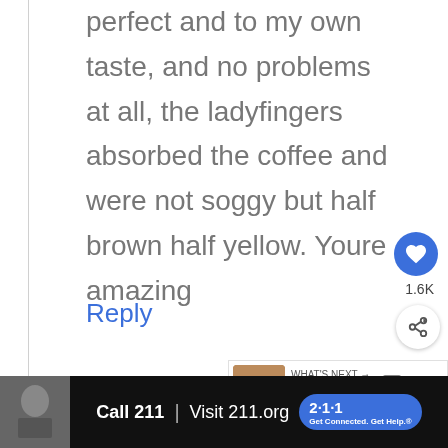perfect and to my own taste, and no problems at all, the ladyfingers absorbed the coffee and were not soggy but half brown half yellow. Youre amazing
Reply
[Figure (screenshot): Like button (heart icon, blue circle) with 1.6K count, and share button below]
[Figure (screenshot): What's Next card with thumbnail image and text: WHAT'S NEXT → Easy Tiramisu Without Eggs]
[Figure (screenshot): Advertisement banner: Call 211 | Visit 211.org with 2-1-1 badge logo]